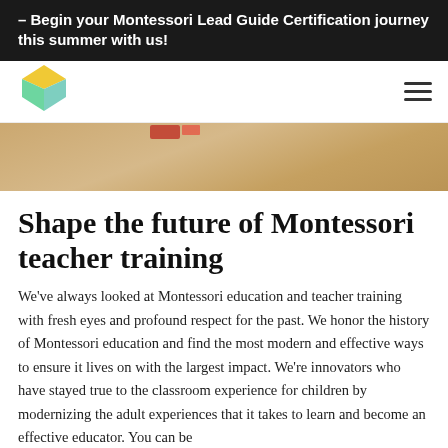– Begin your Montessori Lead Guide Certification journey this summer with us!
[Figure (logo): Colorful geometric cube logo (green, yellow, teal facets) for a Montessori education organization]
[Figure (photo): Partial view of a Montessori classroom floor with warm beige/sandy tones and a small red object visible at top]
Shape the future of Montessori teacher training
We've always looked at Montessori education and teacher training with fresh eyes and profound respect for the past. We honor the history of Montessori education and find the most modern and effective ways to ensure it lives on with the largest impact. We're innovators who have stayed true to the classroom experience for children by modernizing the adult experiences that it takes to learn and become an effective educator. You can be